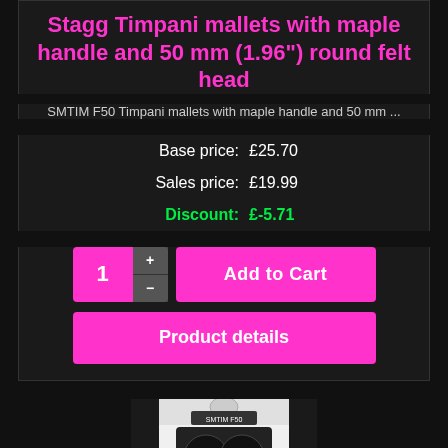Stagg Timpani mallets with maple handle and 50 mm (1.96") round felt head
SMTIM F50 Timpani mallets with maple handle and 50 mm ...
Base price: £25.70
Sales price: £19.99
Discount: £-5.71
[Figure (screenshot): Product purchase UI with quantity selector showing 1, plus/minus buttons, Add to Cart button, and Product details button, all with magenta/pink styling on dark background]
[Figure (photo): Stagg timpani mallets product photo showing mallets with red/brown maple handles and black round felt heads in retail packaging]